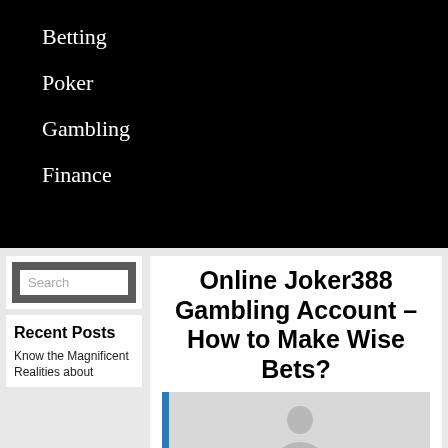Betting
Poker
Gambling
Finance
Search
Recent Posts
Know the Magnificent Realities about
Online Joker388 Gambling Account – How to Make Wise Bets?
[Figure (photo): Person silhouette placeholder image with blue left border bar]